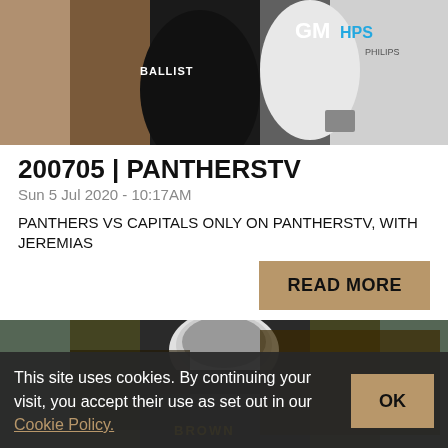[Figure (photo): Ice hockey players in action, one wearing a black jersey with 'BALLIST' visible, another in white with 'GM' and 'HPS' (Phillips) logo]
200705 | PANTHERSTV
Sun 5 Jul 2020 - 10:17AM
PANTHERS VS CAPITALS ONLY ON PANTHERSTV, WITH JEREMIAS
READ MORE
[Figure (photo): Ice hockey crowd scene with 'BROWN' text visible at the bottom, fans in black and yellow]
This site uses cookies. By continuing your visit, you accept their use as set out in our Cookie Policy.